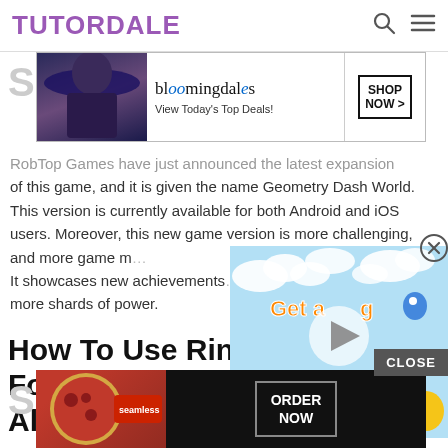TUTORDALE
[Figure (screenshot): Bloomingdale's advertisement banner: 'bloomingdales – View Today's Top Deals!' with SHOP NOW > button and woman in hat]
Sec
RobTop Games have just announced the latest expansion of this game, and it is given the name Geometry Dash World. This version is currently available for both Android and iOS users. Moreover, this new game version is more challenging, and more game m… It showcases new achievements… more shards of power.
[Figure (screenshot): Video popup overlay showing 'Get a ng Monsters' cartoon game advertisement with play button, pink and yellow monster characters on blue sky background]
How To Use Ringtone Maker For Geometry Dash: The Vault All
Sec
[Figure (screenshot): Seamless food delivery advertisement with pizza image, 'seamless' logo in red, and ORDER NOW button. CLOSE button visible above.]